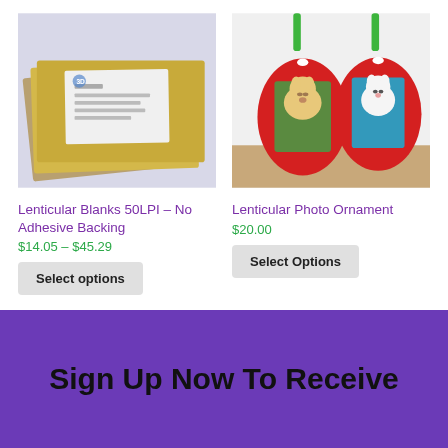[Figure (photo): Photo of lenticular blank sheets stacked on each other, gold/bronze colored, with a white label on top]
[Figure (photo): Photo of two red oval lenticular photo ornaments with green ribbons, each showing a dog photo inside]
Lenticular Blanks 50LPI – No Adhesive Backing
$14.05 – $45.29
Lenticular Photo Ornament
$20.00
Select options
Select Options
Sign Up Now To Receive